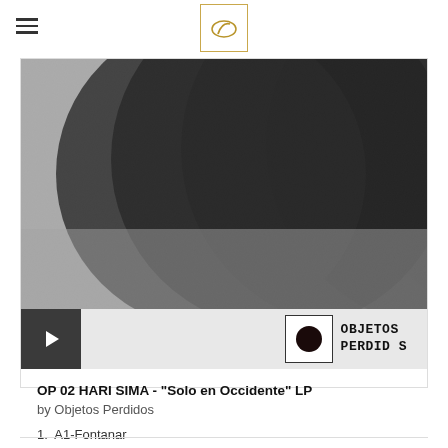[Figure (photo): Album cover showing dark overlapping circles/vinyl records on a grey textured background, black and white]
OP 02 HARI SIMA - "Solo en Occidente" LP
by Objetos Perdidos
1.  A1-Fontanar